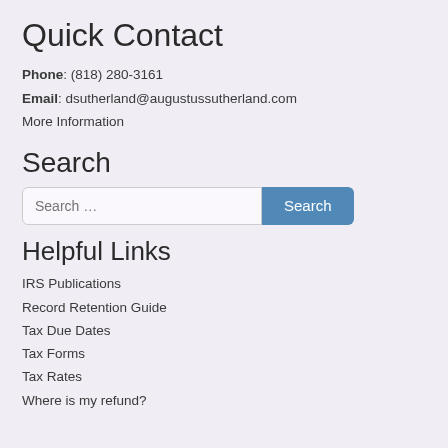Quick Contact
Phone: (818) 280-3161
Email: dsutherland@augustussutherland.com
More Information
Search
Helpful Links
IRS Publications
Record Retention Guide
Tax Due Dates
Tax Forms
Tax Rates
Where is my refund?